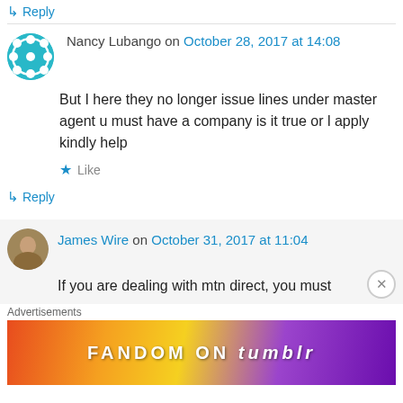↳ Reply
Nancy Lubango on October 28, 2017 at 14:08
But I here they no longer issue lines under master agent u must have a company is it true or l apply kindly help
★ Like
↳ Reply
James Wire on October 31, 2017 at 11:04
If you are dealing with mtn direct, you must
Advertisements
[Figure (infographic): Fandom on Tumblr advertisement banner with colorful gradient background]